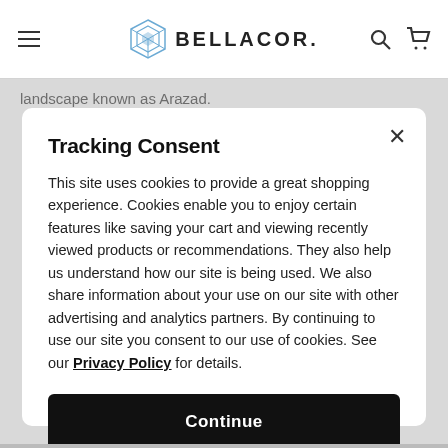BELLACOR.
landscape known as Arazad.
Arazad Retro Styled Modern Teal Gray Area Rug
Hand-tufted in a premium wool and nylon pile
Blues, golds and rusts perfectly complement each other across the patterned landscape
Tracking Consent
This site uses cookies to provide a great shopping experience. Cookies enable you to enjoy certain features like saving your cart and viewing recently viewed products or recommendations. They also help us understand how our site is being used. We also share information about your use on our site with other advertising and analytics partners. By continuing to use our site you consent to our use of cookies. See our Privacy Policy for details.
Continue